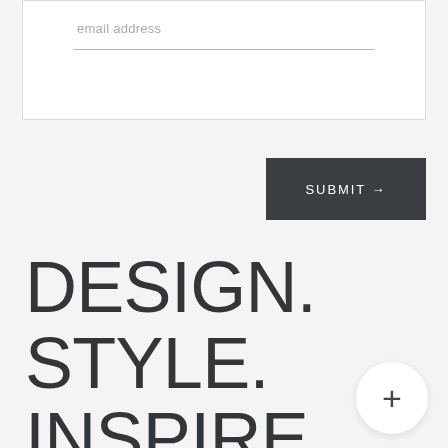[Figure (screenshot): Email address input field inside a white bordered form box with a bottom border underline and placeholder text 'email address']
[Figure (screenshot): Dark charcoal submit button with white text 'SUBMIT →' positioned at the bottom-right of the form area]
DESIGN.
STYLE.
INSPIRE.
[Figure (other): White circular plus (+) button in the bottom-right corner]